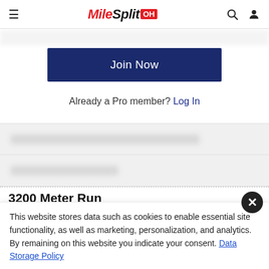MileSplit OH
Join Now
Already a Pro member? Log In
3200 Meter Run
This website stores data such as cookies to enable essential site functionality, as well as marketing, personalization, and analytics. By remaining on this website you indicate your consent. Data Storage Policy